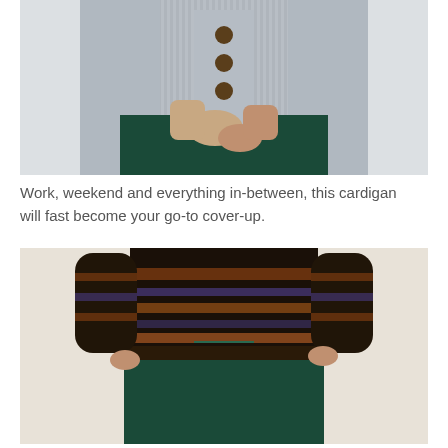[Figure (photo): Close-up of a person wearing a light grey chunky knit cardigan with brown buttons, paired with a dark green satin skirt. The person's hands are crossed at the waist.]
Work, weekend and everything in-between, this cardigan will fast become your go-to cover-up.
[Figure (photo): Full-length photo of a person wearing a patterned dark brown/orange/black knit sweater with a dark green satin maxi skirt. The background is light beige/cream.]